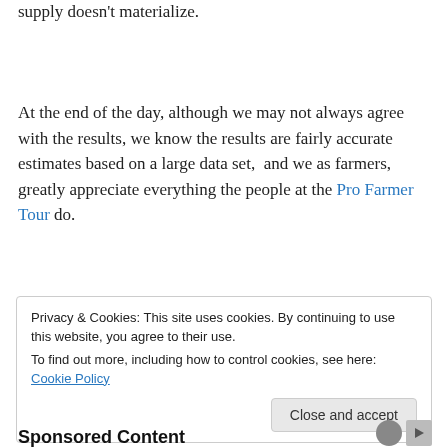supply doesn't materialize.
At the end of the day, although we may not always agree with the results, we know the results are fairly accurate estimates based on a large data set,  and we as farmers, greatly appreciate everything the people at the Pro Farmer Tour do.
Privacy & Cookies: This site uses cookies. By continuing to use this website, you agree to their use.
To find out more, including how to control cookies, see here: Cookie Policy
Sponsored Content